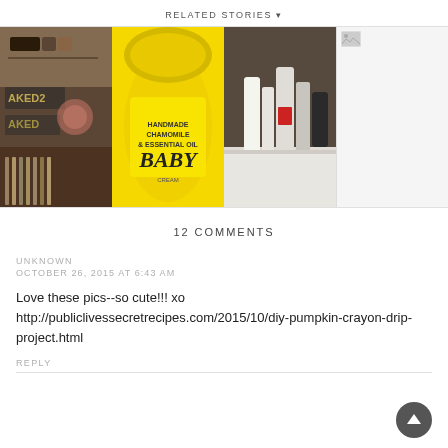RELATED STORIES ▾
[Figure (photo): Grid of four related story thumbnail images: makeup palette/brushes, yellow Baby cream jar, skincare bottles on counter, and a broken/missing image]
12 COMMENTS
UNKNOWN
OCTOBER 26, 2015 AT 6:43 AM
Love these pics--so cute!!! xo http://publiclivessecretrecipes.com/2015/10/diy-pumpkin-crayon-drip-project.html
REPLY